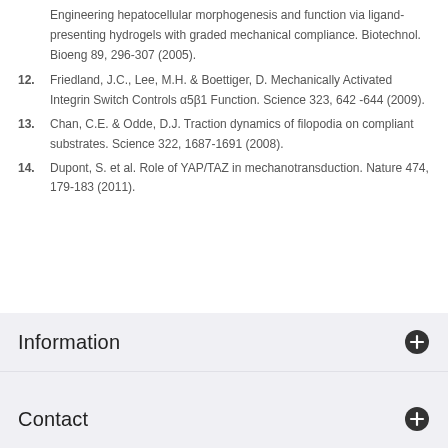Engineering hepatocellular morphogenesis and function via ligand-presenting hydrogels with graded mechanical compliance. Biotechnol. Bioeng 89, 296-307 (2005).
12. Friedland, J.C., Lee, M.H. & Boettiger, D. Mechanically Activated Integrin Switch Controls α5β1 Function. Science 323, 642 -644 (2009).
13. Chan, C.E. & Odde, D.J. Traction dynamics of filopodia on compliant substrates. Science 322, 1687-1691 (2008).
14. Dupont, S. et al. Role of YAP/TAZ in mechanotransduction. Nature 474, 179-183 (2011).
Information
Contact